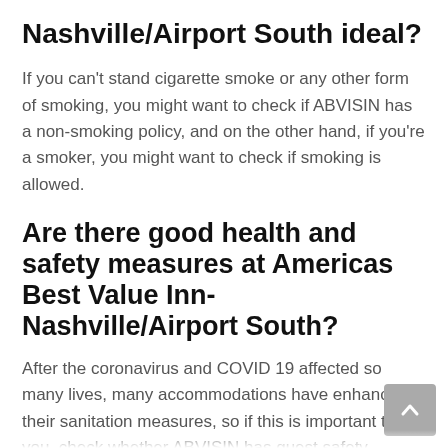Nashville/Airport South ideal?
If you can't stand cigarette smoke or any other form of smoking, you might want to check if ABVISIN has a non-smoking policy, and on the other hand, if you're a smoker, you might want to check if smoking is allowed.
Are there good health and safety measures at Americas Best Value Inn-Nashville/Airport South?
After the coronavirus and COVID 19 affected so many lives, many accommodations have enhanced their sanitation measures, so if this is important to you, check whether ABVISIN has guest safety measures in place, like physical distancing, regularly cleaning commonly touched surfaces, and other additional safety precautions.